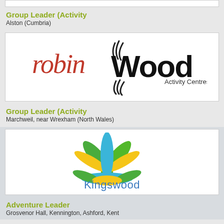[Figure (logo): Partial logo at top of page (clipped)]
Group Leader (Activity
Alston (Cumbria)
[Figure (logo): Robin Wood Activity Centres logo - robin in red cursive and 'wood' in black with leaf/bird mark design]
Group Leader (Activity
Marchweil, near Wrexham (North Wales)
[Figure (logo): Kingswood logo - colourful sunburst in green, yellow and blue with Kingswood text]
Adventure Leader
Grosvenor Hall, Kennington, Ashford, Kent